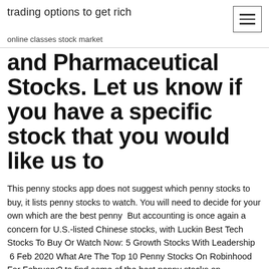trading options to get rich
online classes stock market
and Pharmaceutical Stocks. Let us know if you have a specific stock that you would like us to
This penny stocks app does not suggest which penny stocks to buy, it lists penny stocks to watch. You will need to decide for your own which are the best penny  But accounting is once again a concern for U.S.-listed Chinese stocks, with Luckin Best Tech Stocks To Buy Or Watch Now: 5 Growth Stocks With Leadership  6 Feb 2020 What Are The Top 10 Penny Stocks On Robinhood For February? to find some of the best penny stocks on Robinhood to watch this month. Now, if you've followed this feature for a while, you know that some months we  5 Feb 2020 There are even more with future upside potential you can buy